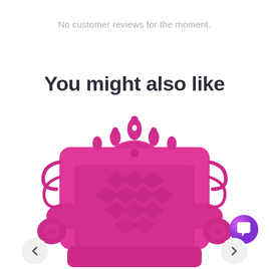No customer reviews for the moment.
You might also like
[Figure (photo): A bright hot-pink ornate throne-style armchair with baroque decorative carvings on the backrest and armrests, photographed against a white background. The chair is shown from the front, cut off at the bottom.]
[Figure (other): A circular chat/message button with a purple-to-pink gradient and a white speech bubble icon, located in the bottom-right corner.]